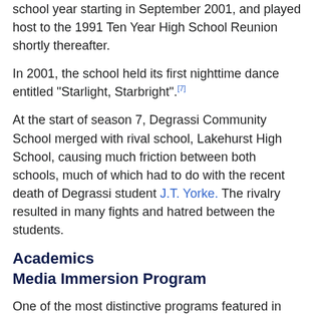school year starting in September 2001, and played host to the 1991 Ten Year High School Reunion shortly thereafter.
In 2001, the school held its first nighttime dance entitled "Starlight, Starbright".[7]
At the start of season 7, Degrassi Community School merged with rival school, Lakehurst High School, causing much friction between both schools, much of which had to do with the recent death of Degrassi student J.T. Yorke. The rivalry resulted in many fights and hatred between the students.
Academics
Media Immersion Program
One of the most distinctive programs featured in